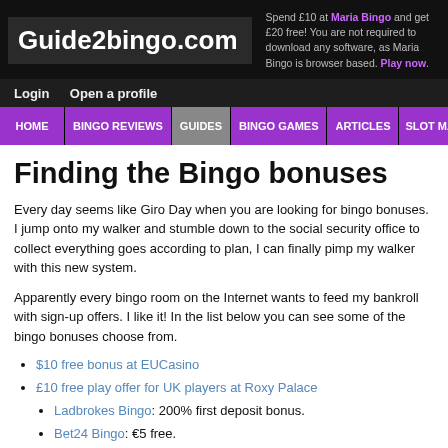Guide2bingo.com
Spend £10 at Maria Bingo and get £20 free! You are not required to download any software, as Maria Bingo is browser based. Play now.
Login  Open a profile
HOME | BINGO REVIEWS | GUIDES | BINGO GAMES | ARTICLES | SLOT MAC...
Finding the Bingo bonuses
Every day seems like Giro Day when you are looking for bingo bonuses. I jump onto my walker and stumble down to the social security office to collect everything goes according to plan, I can finally pimp my walker with this new system.
Apparently every bingo room on the Internet wants to feed my bankroll with sign-up offers. I like it! In the list below you can see some of the bingo bonuses choose from.
$10 free bonus at EUCasino
£10 free play offer for UK players at Roxy Palace
Ladbrokes Bingo: 200% first deposit bonus.
Bet24 Bingo: €5 free.
PartyBingo: 100% first deposit bonus up to $200.